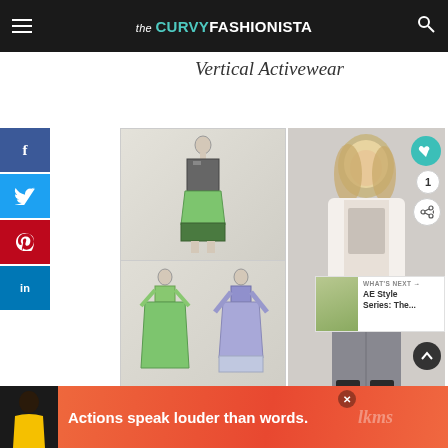the CURVY FASHIONISTA
Vertical Activewear
[Figure (illustration): Social media share sidebar with Facebook, Twitter, Pinterest, LinkedIn buttons and VARRA logo with black triangle]
[Figure (illustration): Fashion design sketches showing pencil drawings of plus-size women in activewear - top figure in green skirt and dark top, bottom two figures in green dress and blue/lavender dress]
[Figure (photo): Plus-size woman model wearing white jacket, graphic tee, and grey skinny jeans with black strappy heels against light background. Interactive heart/share buttons overlay on right side. What's Next panel showing AE Style Series thumbnail.]
[Figure (photo): Advertisement banner showing a person with text: Actions speak louder than words.]